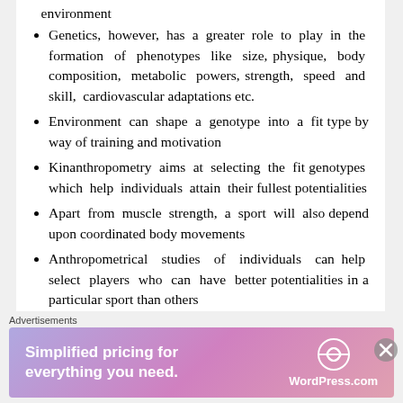environment
Genetics, however, has a greater role to play in the formation of phenotypes like size, physique, body composition, metabolic powers, strength, speed and skill, cardiovascular adaptations etc.
Environment can shape a genotype into a fit type by way of training and motivation
Kinanthropometry aims at selecting the fit genotypes which help individuals attain their fullest potentialities
Apart from muscle strength, a sport will also depend upon coordinated body movements
Anthropometrical studies of individuals can help select players who can have better potentialities in a particular sport than others
Training and other extragenic influences can only change one's phenotype within the limits
Advertisements
[Figure (infographic): WordPress.com advertisement banner: 'Simplified pricing for everything you need.' with WordPress logo on gradient purple-pink background]